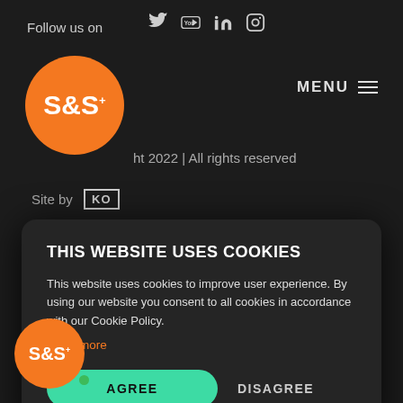Follow us on
[Figure (screenshot): Social media icons: Twitter, YouTube, LinkedIn, Instagram]
MENU
[Figure (logo): S&S+ orange circular logo (large)]
ht 2022 | All rights reserved
Site by KO
THIS WEBSITE USES COOKIES
This website uses cookies to improve user experience. By using our website you consent to all cookies in accordance with our Cookie Policy.
Read more
AGREE
DISAGREE
[Figure (logo): S&S+ orange circular logo (small, bottom left) with green dot]